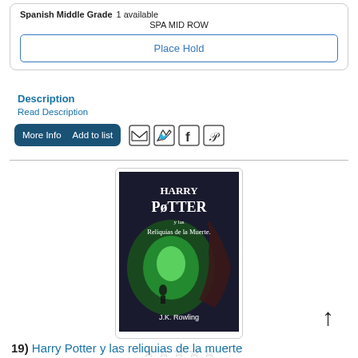Spanish Middle Grade  1 available
SPA MID ROW
Place Hold
Description
Read Description
More Info   Add to list
[Figure (illustration): Book cover of Harry Potter y las Reliquias de la Muerte by J.K. Rowling, Spanish edition. Dark cover with green magical light and fantasy imagery.]
19) Harry Potter y las reliquias de la muerte